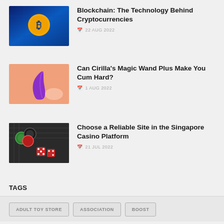[Figure (photo): Thumbnail image of a Bitcoin/blockchain concept with gold coin on blue digital background]
Blockchain: The Technology Behind Cryptocurrencies
22 AUG 2022
[Figure (photo): Thumbnail image of a purple magic wand toy on orange/peach background]
Can Cirilla’s Magic Wand Plus Make You Cum Hard?
1 AUG 2022
[Figure (photo): Thumbnail image of casino chips and red dice on dark surface]
Choose a Reliable Site in the Singapore Casino Platform
21 JUL 2022
TAGS
ADULT TOY STORE
ASSOCIATION
BOOST